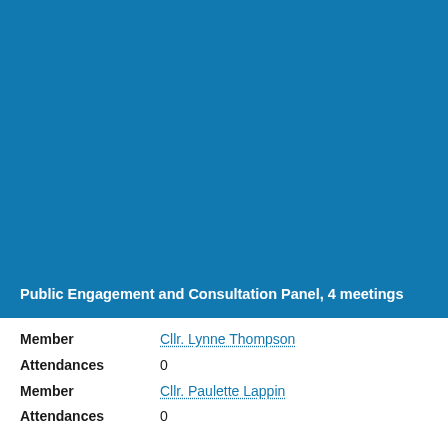[Figure (photo): Blue background panel representing a council or government document cover section]
Public Engagement and Consultation Panel, 4 meetings
Member	Cllr. Lynne Thompson
Attendances	0
Member	Cllr. Paulette Lappin
Attendances	0